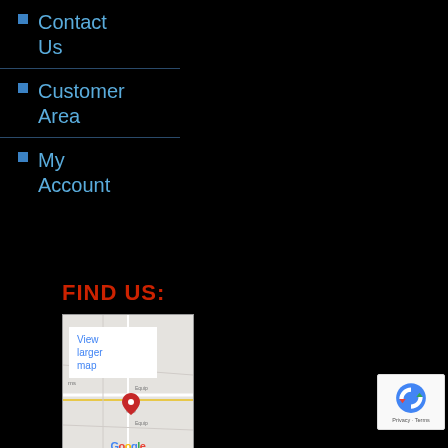Contact Us
Customer Area
My Account
FIND US:
[Figure (map): Google Maps embed showing a location with 'View larger map' link overlay, Google logo, and map data/Terms of Use footer]
[Figure (other): reCAPTCHA badge showing the reCAPTCHA icon with 'Privacy - Terms' text below]